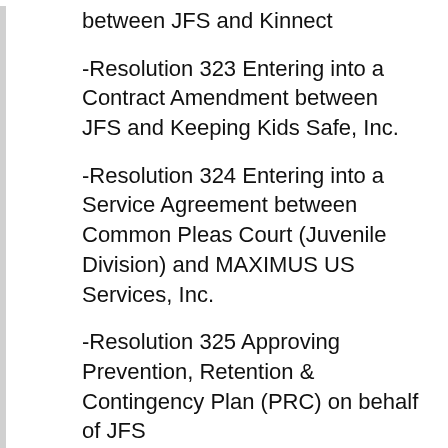between JFS and Kinnect
-Resolution 323 Entering into a Contract Amendment between JFS and Keeping Kids Safe, Inc.
-Resolution 324 Entering into a Service Agreement between Common Pleas Court (Juvenile Division) and MAXIMUS US Services, Inc.
-Resolution 325 Approving Prevention, Retention & Contingency Plan (PRC) on behalf of JFS
-Also Signed: Travel Request for Fred Lord to attend PCSAO Annual Conference in Worthington, Ohio; Travel Request for Commissioners Rummel and Hilkert to attend CCAO Regional Briefing in Bowling Green, Ohio; and Travel Request for Commissioner Rummel and Hilkert to...